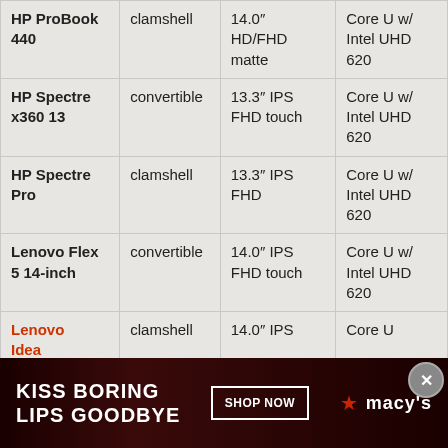| Model | Form Factor | Display | Processor |
| --- | --- | --- | --- |
| HP ProBook 440 | clamshell | 14.0″ HD/FHD matte | Core U w/ Intel UHD 620 |
| HP Spectre x360 13 | convertible | 13.3″ IPS FHD touch | Core U w/ Intel UHD 620 |
| HP Spectre Pro | clamshell | 13.3″ IPS FHD | Core U w/ Intel UHD 620 |
| Lenovo Flex 5 14-inch | convertible | 14.0″ IPS FHD touch | Core U w/ Intel UHD 620 |
| Lenovo IdeaPad 520 | clamshell | 14.0″ IPS | Core U |
[Figure (photo): Advertisement banner: 'Kiss Boring Lips Goodbye' with Shop Now button and Macy's logo with red star]